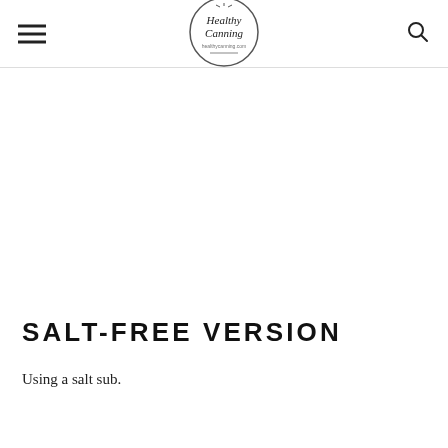Healthy Canning healthycanning.com
SALT-FREE VERSION
Using a salt sub.